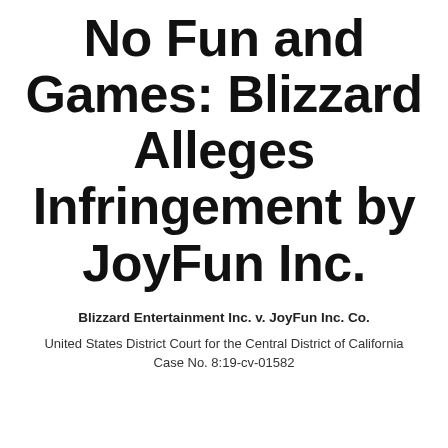No Fun and Games: Blizzard Alleges Infringement by JoyFun Inc.
Blizzard Entertainment Inc. v. JoyFun Inc. Co.
United States District Court for the Central District of California
Case No. 8:19-cv-01582